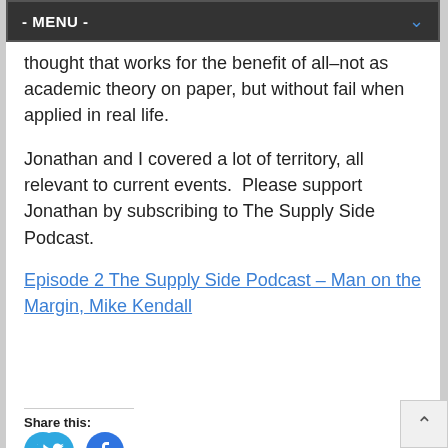- MENU -
thought that works for the benefit of all–not as academic theory on paper, but without fail when applied in real life.
Jonathan and I covered a lot of territory, all relevant to current events.  Please support Jonathan by subscribing to The Supply Side Podcast.
Episode 2 The Supply Side Podcast – Man on the Margin, Mike Kendall
Share this: